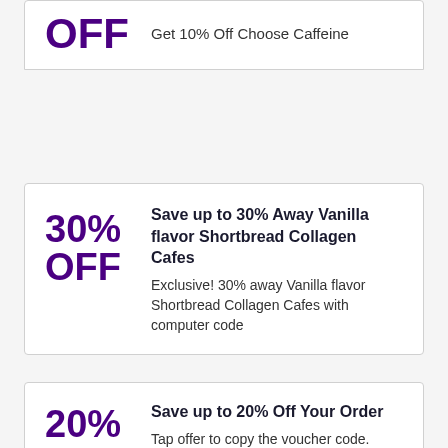OFF  Get 10% Off Choose Caffeine
Save up to 30% Away Vanilla flavor Shortbread Collagen Cafes
Exclusive! 30% away Vanilla flavor Shortbread Collagen Cafes with computer code
Save up to 20% Off Your Order
Tap offer to copy the voucher code.